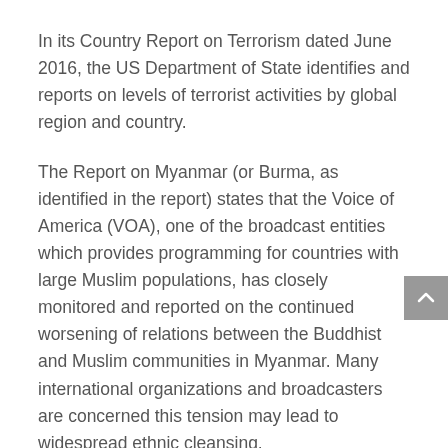In its Country Report on Terrorism dated June 2016, the US Department of State identifies and reports on levels of terrorist activities by global region and country.
The Report on Myanmar (or Burma, as identified in the report) states that the Voice of America (VOA), one of the broadcast entities which provides programming for countries with large Muslim populations, has closely monitored and reported on the continued worsening of relations between the Buddhist and Muslim communities in Myanmar. Many international organizations and broadcasters are concerned this tension may lead to widespread ethnic cleansing.
In addition, Radio Free Asia, a private, nonprofit broadcasting corporation, closely covered the